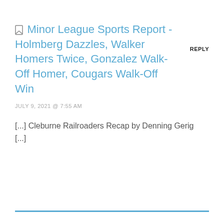Minor League Sports Report - Holmberg Dazzles, Walker Homers Twice, Gonzalez Walk-Off Homer, Cougars Walk-Off Win
JULY 9, 2021 @ 7:55 AM
[...] Cleburne Railroaders Recap by Denning Gerig [...]
LEAVE A REPLY